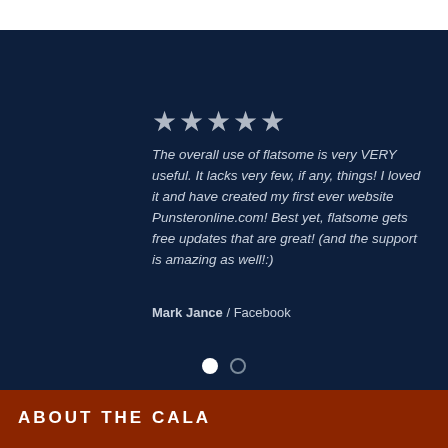★★★★★
The overall use of flatsome is very VERY useful. It lacks very few, if any, things! I loved it and have created my first ever website Punsteronline.com! Best yet, flatsome gets free updates that are great! (and the support is amazing as well!:)
Mark Jance / Facebook
[Figure (other): Carousel navigation dots: one filled white circle and one empty circle outline]
ABOUT THE CALA